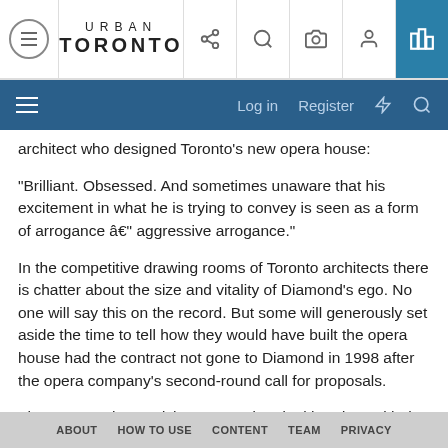URBAN TORONTO
architect who designed Toronto's new opera house:
"Brilliant. Obsessed. And sometimes unaware that his excitement in what he is trying to convey is seen as a form of arrogance â€" aggressive arrogance."
In the competitive drawing rooms of Toronto architects there is chatter about the size and vitality of Diamond's ego. No one will say this on the record. But some will generously set aside the time to tell how they would have built the opera house had the contract not gone to Diamond in 1998 after the opera company's second-round call for proposals.
The reason why Bradshaw wanted to deal head-on with the Diamond ego issue is simple:
ABOUT   HOW TO USE   CONTENT   TEAM   PRIVACY